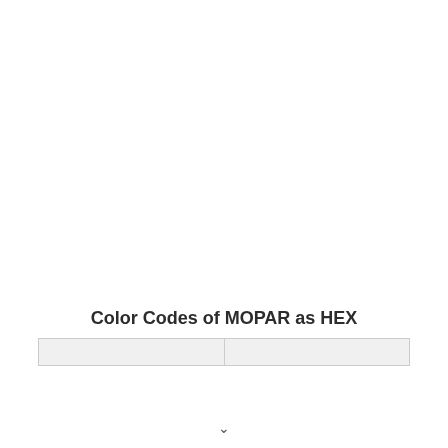Color Codes of MOPAR as HEX
|  |  |
| --- | --- |